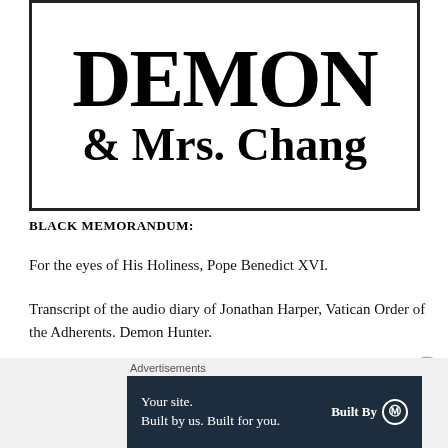[Figure (illustration): Book cover image showing large bold text 'DEMON' and '& Mrs. Chang' in serif font, inside a black border box]
BLACK MEMORANDUM:
For the eyes of His Holiness, Pope Benedict XVI.
Transcript of the audio diary of Jonathan Harper, Vatican Order of the Adherents. Demon Hunter.
Diary recovered in Vatican City, in the ruins of the Church of Santo Stefano degli Abissini, which was destroyed by demons and Hellfire escaping the lost Porta de Infernus.
Advertisements
[Figure (other): Advertisement banner: dark navy background with text 'Your site. Built by us. Built for you.' and 'Built By' with WordPress logo circle]